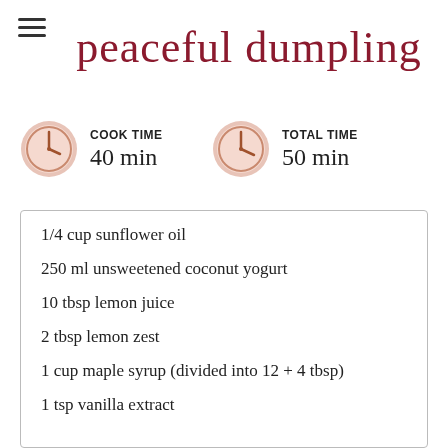peaceful dumpling
COOK TIME
40 min
TOTAL TIME
50 min
1/4 cup sunflower oil
250 ml unsweetened coconut yogurt
10 tbsp lemon juice
2 tbsp lemon zest
1 cup maple syrup (divided into 12 + 4 tbsp)
1 tsp vanilla extract